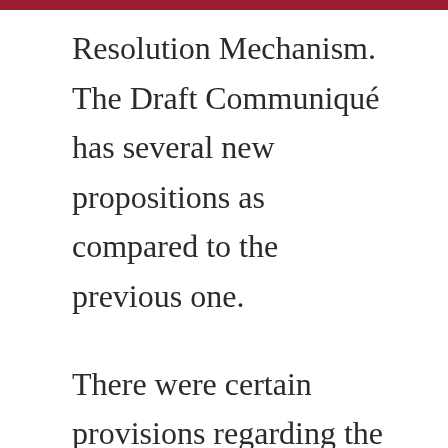Resolution Mechanism. The Draft Communiqué has several new propositions as compared to the previous one.
There were certain provisions regarding the eligibility of Dispute Resolution Service Providers